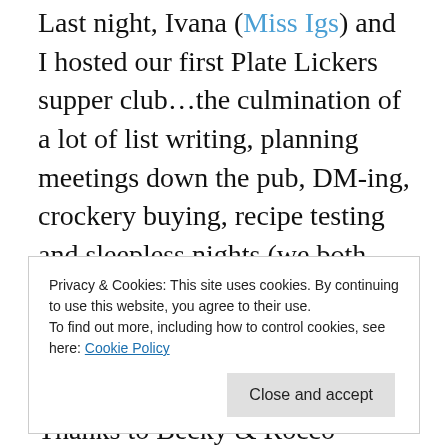Last night, Ivana (Miss Igs) and I hosted our first Plate Lickers supper club…the culmination of a lot of list writing, planning meetings down the pub, DM-ing, crockery buying, recipe testing and sleepless nights (we both suffered with supper club nightmares) but it was so worth it!
Thanks to Becky & Rocco Balzano we had the perfect location for our supper in their gorgeous delicatessen/cafe and I got to put my vast collection of mismatching crockery to use at last…
Privacy & Cookies: This site uses cookies. By continuing to use this website, you agree to their use.
To find out more, including how to control cookies, see here: Cookie Policy
Close and accept